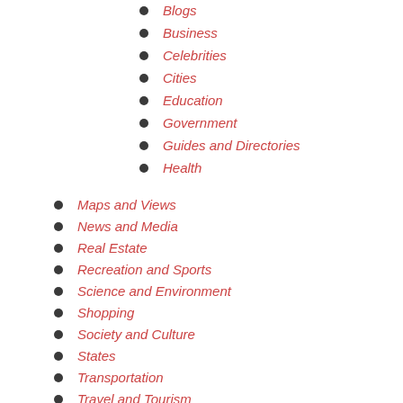Blogs
Business
Celebrities
Cities
Education
Government
Guides and Directories
Health
Maps and Views
News and Media
Real Estate
Recreation and Sports
Science and Environment
Shopping
Society and Culture
States
Transportation
Travel and Tourism
Twitter